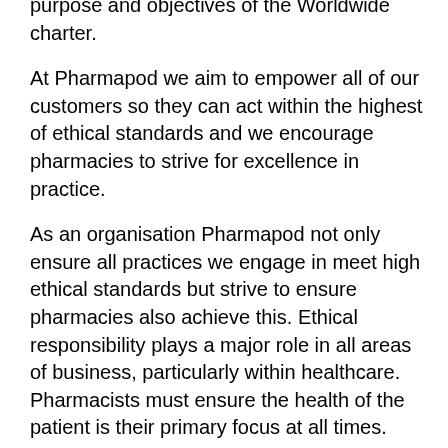purpose and objectives of the Worldwide charter.
At Pharmapod we aim to empower all of our customers so they can act within the highest of ethical standards and we encourage pharmacies to strive for excellence in practice.
As an organisation Pharmapod not only ensure all practices we engage in meet high ethical standards but strive to ensure pharmacies also achieve this. Ethical responsibility plays a major role in all areas of business, particularly within healthcare. Pharmacists must ensure the health of the patient is their primary focus at all times.
The practice of pharmacy is guided by regulation, a code of conduct, and a number of guidelines set out by the Pharmaceutical Society of Ireland. Although regulations are a core element of the pharmacy practice, they only focus on minimum standards. Ethical Standards help to go above and beyond these minimum standards.